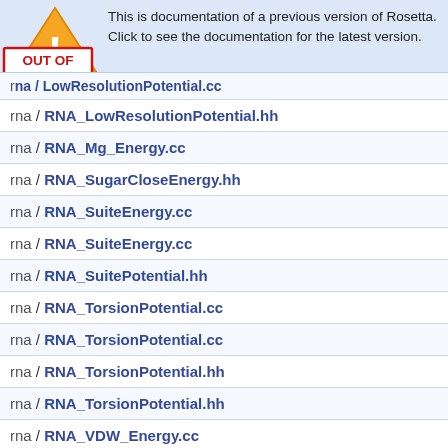[Figure (infographic): Warning banner with 'OUT OF DATE' stamp and triangle warning icon overlay. Text reads: 'This is documentation of a previous version of Rosetta. Click to see the documentation for the latest version.']
| rna / LowResolutionPotential.cc (partial, cut off) |
| rna / LowResolutionPotential.hh |
| rna / RNA_Mg_Energy.cc |
| rna / RNA_SugarCloseEnergy.hh |
| rna / RNA_SuiteEnergy.cc |
| rna / RNA_SuiteEnergy.cc |
| rna / RNA_SuitePotential.hh |
| rna / RNA_TorsionPotential.cc |
| rna / RNA_TorsionPotential.cc |
| rna / RNA_TorsionPotential.hh |
| rna / RNA_TorsionPotential.hh |
| rna / RNA_VDW_Energy.cc |
| sasa.cc |